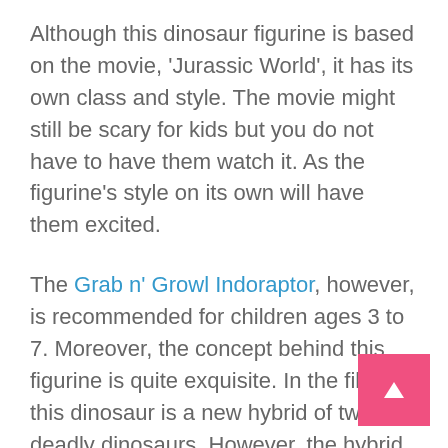Although this dinosaur figurine is based on the movie, 'Jurassic World', it has its own class and style. The movie might still be scary for kids but you do not have to have them watch it. As the figurine's style on its own will have them excited.
The Grab n' Growl Indoraptor, however, is recommended for children ages 3 to 7. Moreover, the concept behind this figurine is quite exquisite. In the film, this dinosaur is a new hybrid of two deadly dinosaurs. However, the hybrid is more dangerous compared to the individuals. Besides, the figurine is quite small, so your kid will not have any trouble holding it.
Indoraptor has all the new yet exclusive feature effects. For instance, red, glowing eyes, a chomping